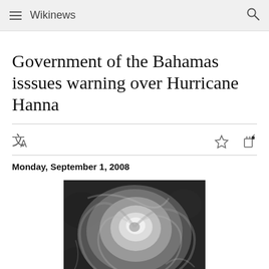Wikinews
Government of the Bahamas isssues warning over Hurricane Hanna
Monday, September 1, 2008
[Figure (photo): Satellite photograph of Hurricane Hanna, a large tropical cyclone shown in black and white from above.]